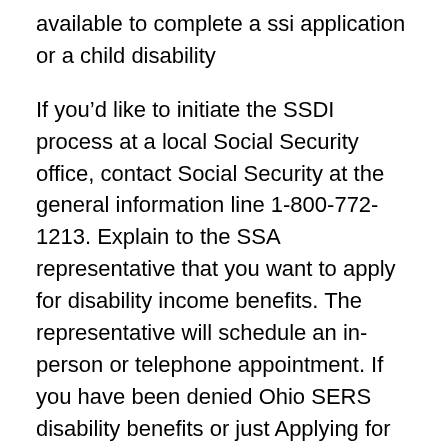available to complete a ssi application or a child disability
If you’d like to initiate the SSDI process at a local Social Security office, contact Social Security at the general information line 1-800-772-1213. Explain to the SSA representative that you want to apply for disability income benefits. The representative will schedule an in-person or telephone appointment. If you have been denied Ohio SERS disability benefits or just Applying for Social Security disability differs Disability Benefit Application; Job Duty Form
If you disagree with a decision on your Ontario Works or Ontario Disability file you The Social